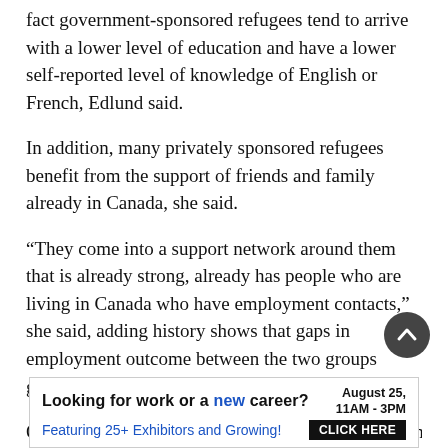fact government-sponsored refugees tend to arrive with a lower level of education and have a lower self-reported level of knowledge of English or French, Edlund said.
In addition, many privately sponsored refugees benefit from the support of friends and family already in Canada, she said.
“They come into a support network around them that is already strong, already has people who are living in Canada who have employment contacts,” she said, adding history shows that gaps in employment outcome between the two groups generally disappear after eight or nine years.
Other attendees at the conference expressed concern that
[Figure (infographic): Advertisement banner: 'Looking for work or a new career? August 25, 11AM-3PM. Featuring 25+ Exhibitors and Growing! CLICK HERE']